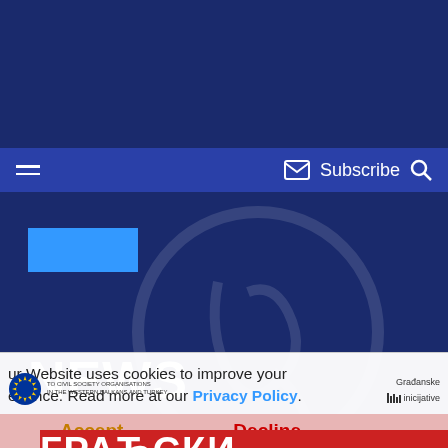Subscribe
[Figure (screenshot): Website navigation bar with hamburger menu icon on left and Subscribe with envelope icon and search icon on right, on dark blue background]
NEWS
Our Website uses cookies to improve your experience. Read more at our Privacy Policy.
Accept   Decline